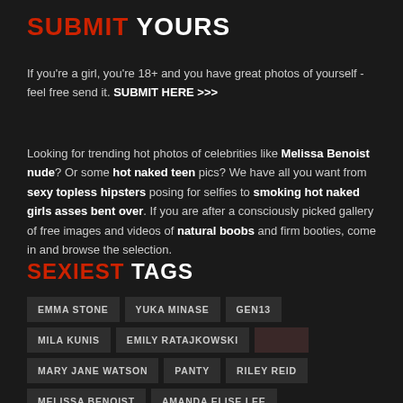SUBMIT YOURS
If you're a girl, you're 18+ and you have great photos of yourself - feel free send it. SUBMIT HERE >>>
Looking for trending hot photos of celebrities like Melissa Benoist nude? Or some hot naked teen pics? We have all you want from sexy topless hipsters posing for selfies to smoking hot naked girls asses bent over. If you are after a consciously picked gallery of free images and videos of natural boobs and firm booties, come in and browse the selection.
SEXIEST TAGS
EMMA STONE
YUKA MINASE
GEN13
MILA KUNIS
EMILY RATAJKOWSKI
MARY JANE WATSON
PANTY
RILEY REID
MELISSA BENOIST
AMANDA ELISE LEE